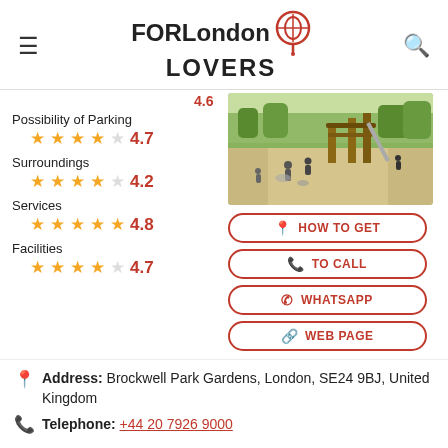FOR London LOVERS
4.6
Possibility of Parking ★★★★☆ 4.7
Surroundings ★★★★☆ 4.2
Services ★★★★★ 4.8
Facilities ★★★★☆ 4.7
[Figure (photo): Outdoor park/playground with wooden climbing structures, children playing on paths, greenery around]
HOW TO GET
TO CALL
WHATSAPP
WEB PAGE
Address: Brockwell Park Gardens, London, SE24 9BJ, United Kingdom
Telephone: +44 20 7926 9000